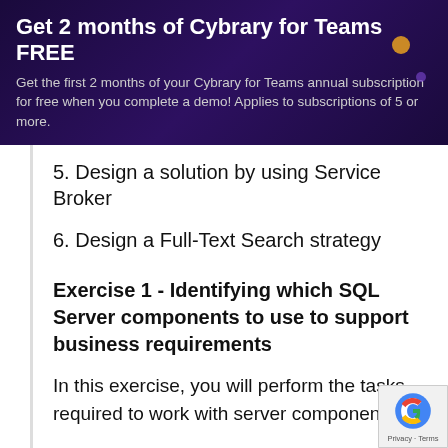Get 2 months of Cybrary for Teams FREE
Get the first 2 months of your Cybrary for Teams annual subscription for free when you complete a demo! Applies to subscriptions of 5 or more.
5. Design a solution by using Service Broker
6. Design a Full-Text Search strategy
Exercise 1 - Identifying which SQL Server components to use to support business requirements
In this exercise, you will perform the tasks required to work with server components.
Exercise 2 - Designing a database moc
In this exercise, you will perform the tasks